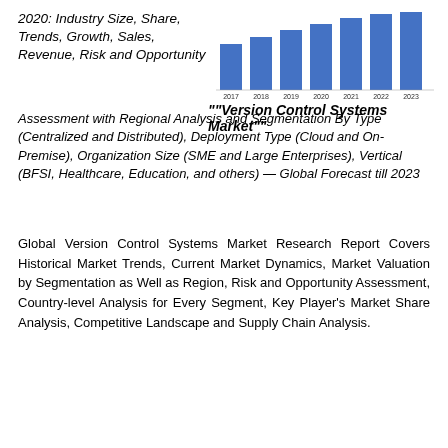2020: Industry Size, Share, Trends, Growth, Sales, Revenue, Risk and Opportunity Assessment with Regional Analysis and Segmentation By Type (Centralized and Distributed), Deployment Type (Cloud and On-Premise), Organization Size (SME and Large Enterprises), Vertical (BFSI, Healthcare, Education, and others) — Global Forecast till 2023
[Figure (bar-chart): ]
""Version Control Systems Market""
Global Version Control Systems Market Research Report Covers Historical Market Trends, Current Market Dynamics, Market Valuation by Segmentation as Well as Region, Risk and Opportunity Assessment, Country-level Analysis for Every Segment, Key Player's Market Share Analysis, Competitive Landscape and Supply Chain Analysis.